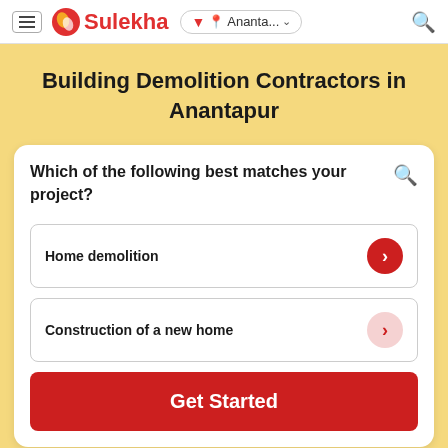Sulekha | Ananta... | Search
Building Demolition Contractors in Anantapur
Which of the following best matches your project?
Home demolition
Construction of a new home
Get Started
How Sulekha works?